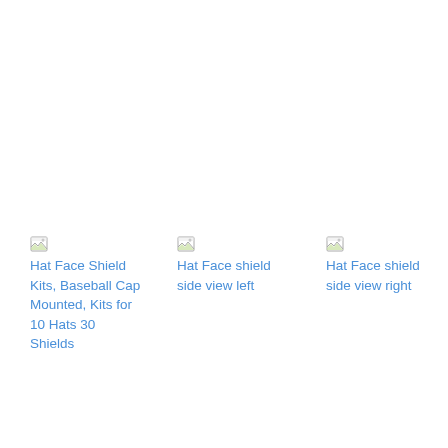[Figure (photo): Broken image placeholder icon for Hat Face Shield Kits, Baseball Cap Mounted, Kits for 10 Hats 30 Shields]
Hat Face Shield Kits, Baseball Cap Mounted, Kits for 10 Hats 30 Shields
[Figure (photo): Broken image placeholder icon for Hat Face shield side view left]
Hat Face shield side view left
[Figure (photo): Broken image placeholder icon for Hat Face shield side view right]
Hat Face shield side view right